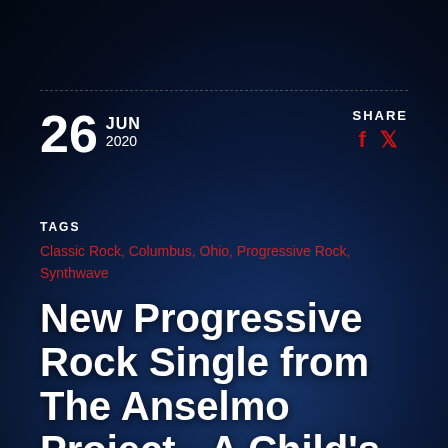26 JUN 2020
SHARE
TAGS
Classic Rock, Columbus, Ohio, Progressive Rock, Synthwave
New Progressive Rock Single from The Anselmo Project - A Child's Dream